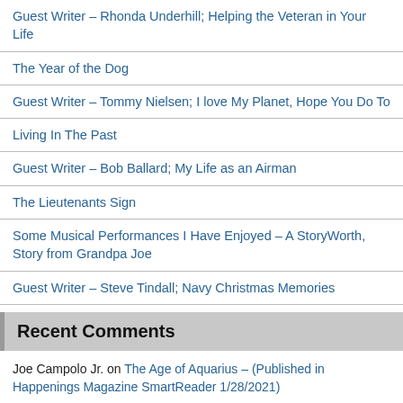Guest Writer – Rhonda Underhill; Helping the Veteran in Your Life
The Year of the Dog
Guest Writer – Tommy Nielsen; I love My Planet, Hope You Do To
Living In The Past
Guest Writer – Bob Ballard; My Life as an Airman
The Lieutenants Sign
Some Musical Performances I Have Enjoyed – A StoryWorth, Story from Grandpa Joe
Guest Writer – Steve Tindall; Navy Christmas Memories
Recent Comments
Joe Campolo Jr. on The Age of Aquarius – (Published in Happenings Magazine SmartReader 1/28/2021)
Tom Keating on The Age of Aquarius – (Published in Happenings Magazine SmartReader 1/28/2021)
Joe Campolo Jr. on Trieu Hai Hoang; Images from the Vietnam war